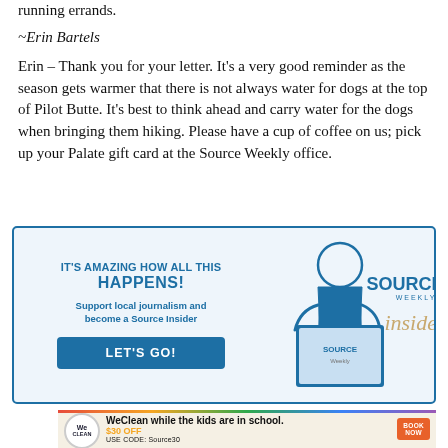running errands.
~Erin Bartels
Erin – Thank you for your letter. It's a very good reminder as the season gets warmer that there is not always water for dogs at the top of Pilot Butte. It's best to think ahead and carry water for the dogs when bringing them hiking. Please have a cup of coffee on us; pick up your Palate gift card at the Source Weekly office.
[Figure (infographic): Source Weekly Insider advertisement. Blue border box with text: IT'S AMAZING HOW ALL THIS HAPPENS! Support local journalism and become a Source Insider. LET'S GO! button. Illustration of person reading Source Weekly magazine with Source Weekly Insider logo.]
[Figure (infographic): WeClean advertisement. WeClean logo circle with colorful border. Text: WeClean while the kids are in school. $30 OFF USE CODE: Source30. BOOK NOW button. Photo of woman cleaning.]